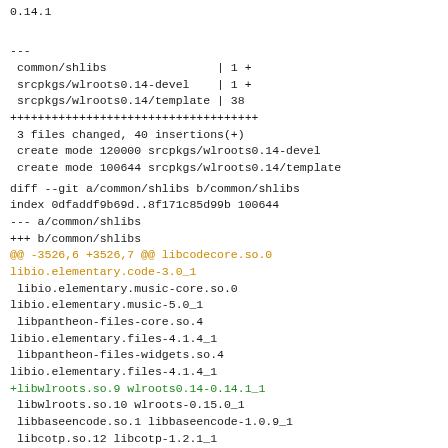0.14.1
---
 common/shlibs                | 1 +
 srcpkgs/wlroots0.14-devel    | 1 +
 srcpkgs/wlroots0.14/template | 38
++++++++++++++++++++++++++++++++++++
 3 files changed, 40 insertions(+)
 create mode 120000 srcpkgs/wlroots0.14-devel
 create mode 100644 srcpkgs/wlroots0.14/template
diff --git a/common/shlibs b/common/shlibs
index 0dfaddf9b69d..8f171c85d99b 100644
--- a/common/shlibs
+++ b/common/shlibs
@@ -3526,6 +3526,7 @@ libcodecore.so.0
libio.elementary.code-3.0_1
 libio.elementary.music-core.so.0
libio.elementary.music-5.0_1
 libpantheon-files-core.so.4
libio.elementary.files-4.1.4_1
 libpantheon-files-widgets.so.4
libio.elementary.files-4.1.4_1
+libwlroots.so.9 wlroots0.14-0.14.1_1
 libwlroots.so.10 wlroots-0.15.0_1
 libbaseencode.so.1 libbaseencode-1.0.9_1
 libcotp.so.12 libcotp-1.2.1_1
diff --git a/srcpkgs/wlroots0.14-devel
b/srcpkgs/wlroots0.14-devel
new file mode 120000